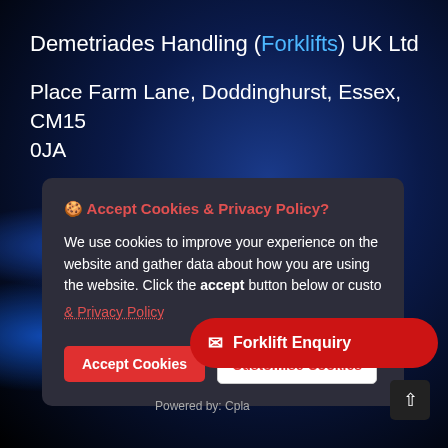Demetriades Handling (Forklifts) UK Ltd
Place Farm Lane, Doddinghurst, Essex,  CM15 0JA
🍪 Accept Cookies & Privacy Policy?
We use cookies to improve your experience on the website and gather data about how you are using the website. Click the accept button below or custo... & Privacy Policy
Accept Cookies
Customise Cookies
✉ Forklift Enquiry
Powered by: Cpla...